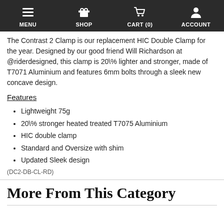MENU  SHOP  CART (0)  ACCOUNT
The Contrast 2 Clamp is our replacement HIC Double Clamp for the year. Designed by our good friend Will Richardson at @riderdesigned, this clamp is 20\% lighter and stronger, made of T7071 Aluminium and features 6mm bolts through a sleek new concave design.
Features
Lightweight 75g
20\% stronger heated treated T7075 Aluminium
HIC double clamp
Standard and Oversize with shim
Updated Sleek design
(DC2-DB-CL-RD)
More From This Category